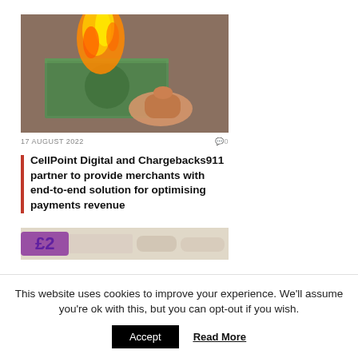[Figure (photo): A hand holding a burning $100 US dollar bill with flame visible at the top]
17 AUGUST 2022   0
CellPoint Digital and Chargebacks911 partner to provide merchants with end-to-end solution for optimising payments revenue
[Figure (photo): Partial image of colorful banknotes/currency]
This website uses cookies to improve your experience. We'll assume you're ok with this, but you can opt-out if you wish.
Accept   Read More